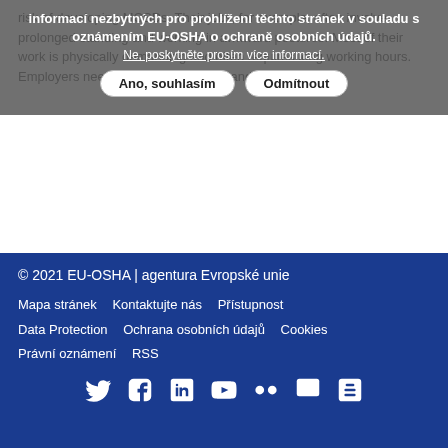risk of developing MCSDs. Their jobs, for example, often involve prolonged standing and working in awkward postures. Most of their work is physically demanding and often requires long working hours. Employers need to adapt prevention and...
informací nezbytných pro prohlížení těchto stránek v souladu s oznámením EU-OSHA o ochraně osobních údajů.
Ne, poskytněte prosím více informací.
Ano, souhlasím   Odmítnout
Zobrazit více informací →
© 2021 EU-OSHA | agentura Evropské unie
Mapa stránek   Kontaktujte nás   Přístupnost
Data Protection   Ochrana osobních údajů   Cookies
Právní oznámení   RSS